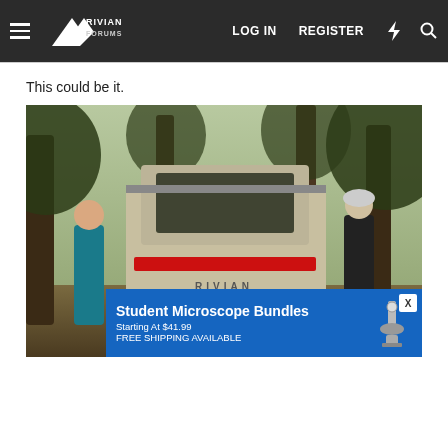Rivian Forums — LOG IN  REGISTER
This could be it.
[Figure (photo): Rear view of a silver Rivian electric pickup truck parked in a wooded outdoor setting. A woman in a teal jacket stands to the left and a man in a dark jacket stands to the right. The Rivian logo is visible on the tailgate. There is a characteristic thin red tail light bar across the rear of the vehicle.]
[Figure (infographic): Advertisement overlay: Student Microscope Bundles, Starting At $41.99, FREE SHIPPING AVAILABLE. Blue background with microscope image on right and X close button.]